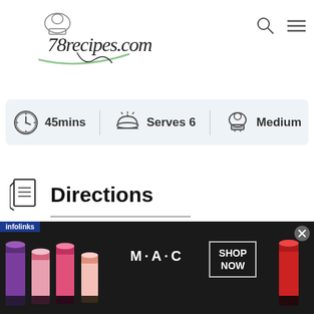[Figure (logo): 78recipes.com logo with chef hat and cursive script text and green swoosh underline]
[Figure (infographic): Recipe info bar showing: clock icon with 45mins, serving dish icon with Serves 6, chef hat icon with Medium]
Directions
[Figure (photo): MAC cosmetics advertisement banner with lipstick products, MAC logo, and SHOP NOW button, with infolinks label and close button]